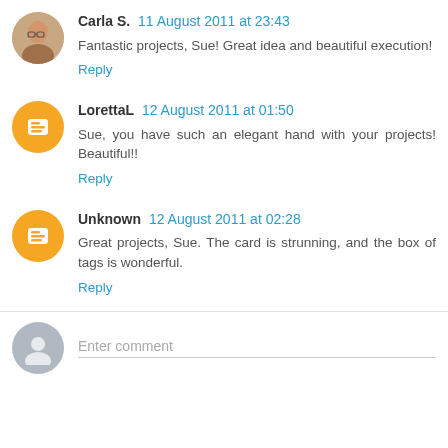Carla S. 11 August 2011 at 23:43
Fantastic projects, Sue! Great idea and beautiful execution!
Reply
LorettaL 12 August 2011 at 01:50
Sue, you have such an elegant hand with your projects! Beautiful!!
Reply
Unknown 12 August 2011 at 02:28
Great projects, Sue. The card is strunning, and the box of tags is wonderful.
Reply
Enter comment